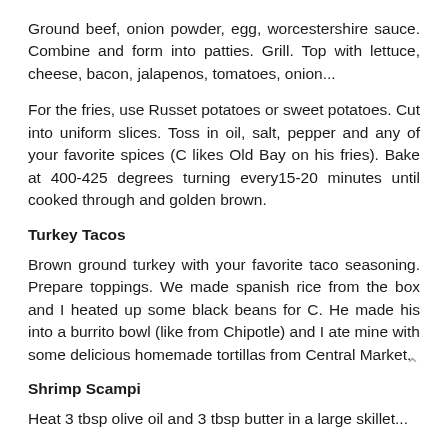Ground beef, onion powder, egg, worcestershire sauce. Combine and form into patties. Grill. Top with lettuce, cheese, bacon, jalapenos, tomatoes, onion...
For the fries, use Russet potatoes or sweet potatoes. Cut into uniform slices. Toss in oil, salt, pepper and any of your favorite spices (C likes Old Bay on his fries). Bake at 400-425 degrees turning every15-20 minutes until cooked through and golden brown.
Turkey Tacos
Brown ground turkey with your favorite taco seasoning. Prepare toppings. We made spanish rice from the box and I heated up some black beans for C. He made his into a burrito bowl (like from Chipotle) and I ate mine with some delicious homemade tortillas from Central Market.
Shrimp Scampi
Heat 3 tbsp olive oil and 3 tbsp butter in a large skillet...